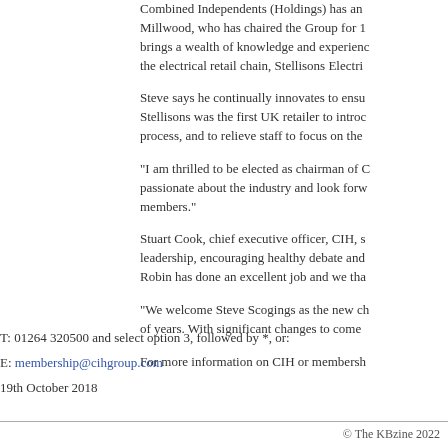Combined Independents (Holdings) has an... Millwood, who has chaired the Group for 1... brings a wealth of knowledge and experience... the electrical retail chain, Stellisons Electri...
Steve says he continually innovates to ensu... Stellisons was the first UK retailer to introc... process, and to relieve staff to focus on the...
"I am thrilled to be elected as chairman of C... passionate about the industry and look forw... members."
Stuart Cook, chief executive officer, CIH, s... leadership, encouraging healthy debate and... Robin has done an excellent job and we tha...
"We welcome Steve Scogings as the new ch... of years. With significant changes to come...
For more information on CIH or membership...
T: 01264 320500 and select option 3, followed by *, or:
E: membership@cihgroup.com
19th October 2018
© The KBzine 2022